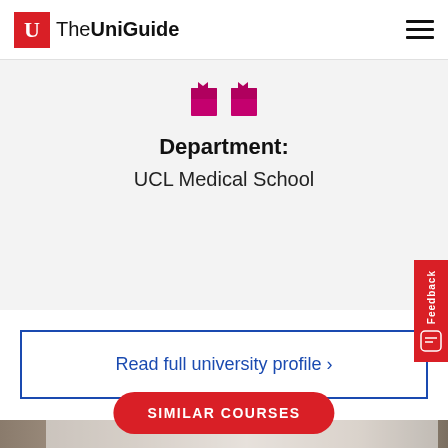The UniGuide
Department:
UCL Medical School
Read full university profile >
[Figure (photo): Photo of a person, partially visible, with a circular blue avatar icon overlay]
SIMILAR COURSES